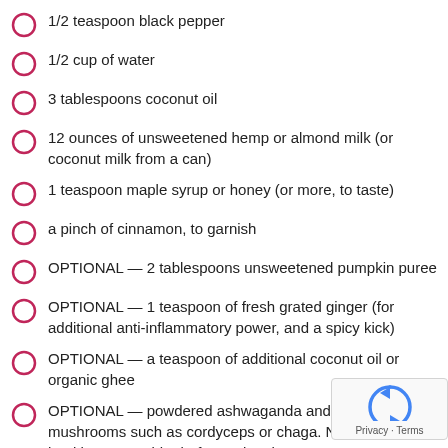1/2 teaspoon black pepper
1/2 cup of water
3 tablespoons coconut oil
12 ounces of unsweetened hemp or almond milk (or coconut milk from a can)
1 teaspoon maple syrup or honey (or more, to taste)
a pinch of cinnamon, to garnish
OPTIONAL — 2 tablespoons unsweetened pumpkin puree
OPTIONAL — 1 teaspoon of fresh grated ginger (for additional anti-inflammatory power, and a spicy kick)
OPTIONAL — a teaspoon of additional coconut oil or organic ghee
OPTIONAL — powdered ashwaganda and medicinal mushrooms such as cordyceps or chaga. Note: ch... your healthcare provider before using these or any supplements.